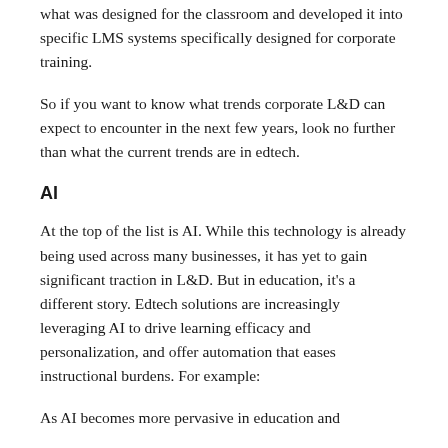what was designed for the classroom and developed it into specific LMS systems specifically designed for corporate training.
So if you want to know what trends corporate L&D can expect to encounter in the next few years, look no further than what the current trends are in edtech.
AI
At the top of the list is AI. While this technology is already being used across many businesses, it has yet to gain significant traction in L&D. But in education, it's a different story. Edtech solutions are increasingly leveraging AI to drive learning efficacy and personalization, and offer automation that eases instructional burdens. For example:
As AI becomes more pervasive in education and